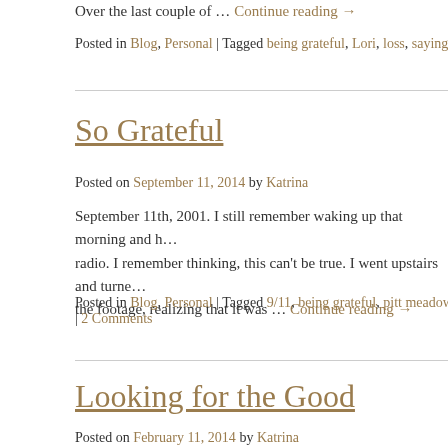Over the last couple of … Continue reading →
Posted in Blog, Personal | Tagged being grateful, Lori, loss, saying go…
So Grateful
Posted on September 11, 2014 by Katrina
September 11th, 2001. I still remember waking up that morning and h… radio. I remember thinking, this can't be true. I went upstairs and turne… the footage, realizing that it was … Continue reading →
Posted in Blog, Personal | Tagged 9/11, being grateful, pitt meadows … | 2 Comments
Looking for the Good
Posted on February 11, 2014 by Katrina
Ever have those moments where you step back and realize how bac…